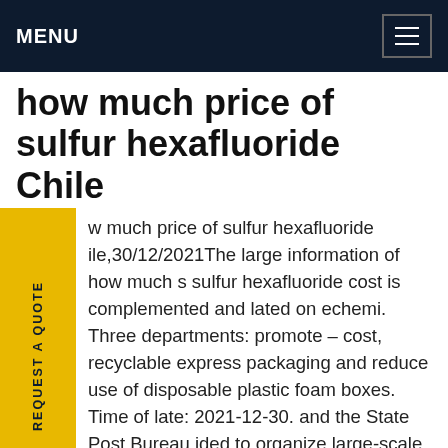MENU
how much price of sulfur hexafluoride Chile
how much price of sulfur hexafluoride Chile,30/12/2021The large information of how much is sulfur hexafluoride cost is complemented and updated on echemi. Three departments: promote – cost, recyclable express packaging and reduce use of disposable plastic foam boxes. Time of date: 2021-12-30. and the State Post Bureau decided to organize large-scale application pilots of recyclableGet price
[Figure (photo): Electrical power substation with large transformer equipment, insulators, and transmission towers in background]